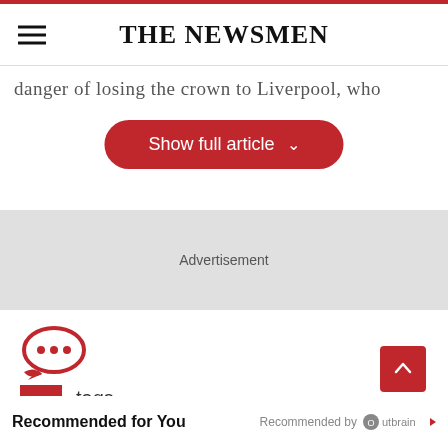THE NEWSMEN
danger of losing the crown to Liverpool, who
Show full article
Advertisement
[Figure (illustration): Red speech bubble with three dots (comment icon)]
tags
sports star
Recommended for You
Recommended by Outbrain